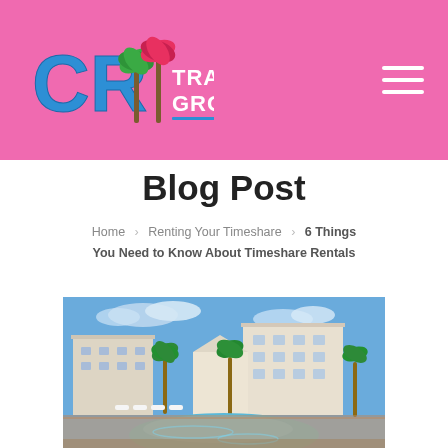[Figure (logo): CR Travel Group logo with palm trees on pink header background]
Blog Post
Home > Renting Your Timeshare > 6 Things You Need to Know About Timeshare Rentals
[Figure (photo): Resort photo showing a pool area with lounge chairs and multi-story white/beige resort buildings surrounded by palm trees under a blue sky]